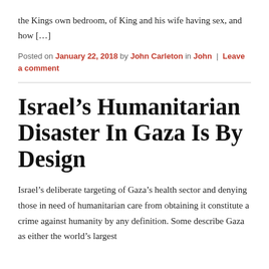the Kings own bedroom, of King and his wife having sex, and how […]
Posted on January 22, 2018 by John Carleton in John | Leave a comment
Israel's Humanitarian Disaster In Gaza Is By Design
Israel's deliberate targeting of Gaza's health sector and denying those in need of humanitarian care from obtaining it constitute a crime against humanity by any definition. Some describe Gaza as either the world's largest